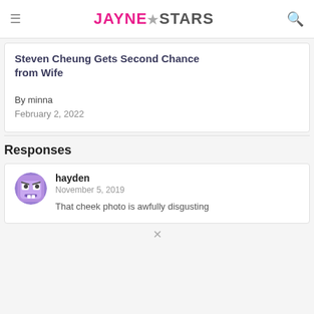JAYNE★STARS
Steven Cheung Gets Second Chance from Wife
By minna
February 2, 2022
Responses
hayden
November 5, 2019
That cheek photo is awfully disgusting
[Figure (illustration): Purple cartoon monster avatar for user hayden]